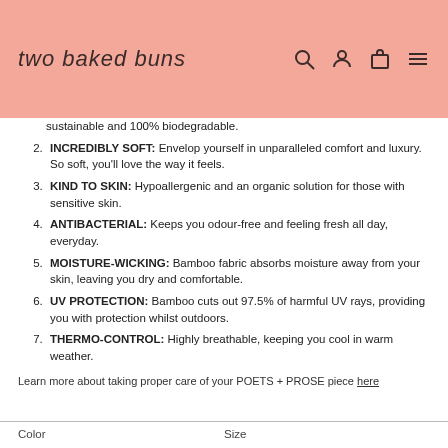two baked buns
sustainable and 100% biodegradable.
INCREDIBLY SOFT: Envelop yourself in unparalleled comfort and luxury. So soft, you'll love the way it feels.
KIND TO SKIN: Hypoallergenic and an organic solution for those with sensitive skin.
ANTIBACTERIAL: Keeps you odour-free and feeling fresh all day, everyday.
MOISTURE-WICKING: Bamboo fabric absorbs moisture away from your skin, leaving you dry and comfortable.
UV PROTECTION: Bamboo cuts out 97.5% of harmful UV rays, providing you with protection whilst outdoors.
THERMO-CONTROL: Highly breathable, keeping you cool in warm weather.
Learn more about taking proper care of your POETS + PROSE piece here
Color	Size